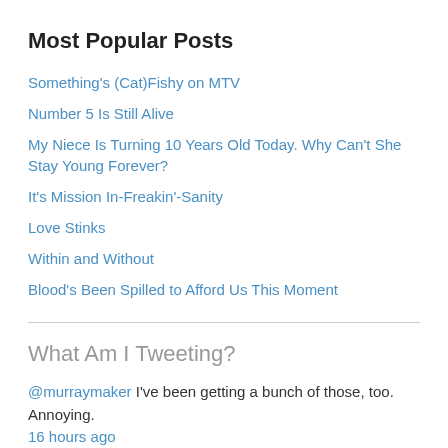Most Popular Posts
Something's (Cat)Fishy on MTV
Number 5 Is Still Alive
My Niece Is Turning 10 Years Old Today. Why Can't She Stay Young Forever?
It's Mission In-Freakin'-Sanity
Love Stinks
Within and Without
Blood's Been Spilled to Afford Us This Moment
What Am I Tweeting?
@murraymaker I've been getting a bunch of those, too. Annoying. 16 hours ago
Back again! Let's go, #RedSox!! :-) https://t.co/WLFiRol40E 16 hours ago
@hollyiscool1 Equally annoying is that if you go to unsubscribe, you just